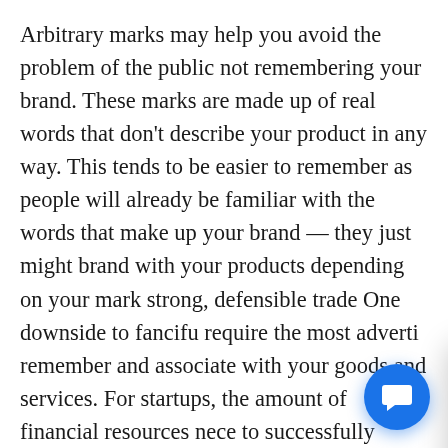Arbitrary marks may help you avoid the problem of the public not remembering your brand. These marks are made up of real words that don't describe your product in any way. This tends to be easier to remember as people will already be familiar with the words that make up your brand — they just might brand with your products depending on your mark strong, defensible trade One downside to fancifu require the most adverti remember and associate with your goods and services. For startups, the amount of financial resources nece to successfully educate consumers may make fancif arbitrary brands less desirable.
[Figure (screenshot): Chat widget popup partially overlapping the main text. Shows an avatar of a man in a suit, a close (X) button, and the message: 'Welcome to Garcia-Zamor. We provide a lot of detailed information and brochures that can be downloaded via this chat after providing your name and email address.' A blue circular chat button is visible at the bottom right.]